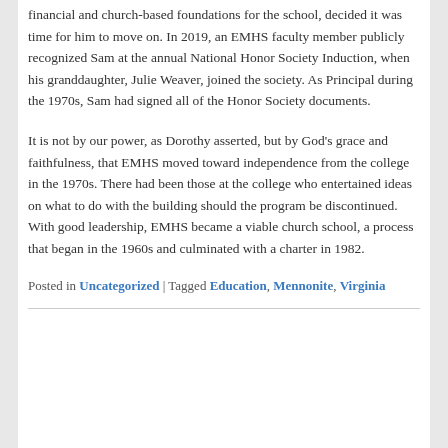financial and church-based foundations for the school, decided it was time for him to move on. In 2019, an EMHS faculty member publicly recognized Sam at the annual National Honor Society Induction, when his granddaughter, Julie Weaver, joined the society. As Principal during the 1970s, Sam had signed all of the Honor Society documents.
It is not by our power, as Dorothy asserted, but by God's grace and faithfulness, that EMHS moved toward independence from the college in the 1970s. There had been those at the college who entertained ideas on what to do with the building should the program be discontinued. With good leadership, EMHS became a viable church school, a process that began in the 1960s and culminated with a charter in 1982.
Posted in Uncategorized | Tagged Education, Mennonite, Virginia